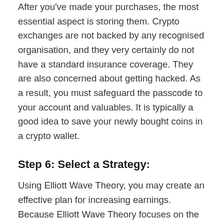After you've made your purchases, the most essential aspect is storing them. Crypto exchanges are not backed by any recognised organisation, and they very certainly do not have a standard insurance coverage. They are also concerned about getting hacked. As a result, you must safeguard the passcode to your account and valuables. It is typically a good idea to save your newly bought coins in a crypto wallet.
Step 6: Select a Strategy:
Using Elliott Wave Theory, you may create an effective plan for increasing earnings. Because Elliott Wave Theory focuses on the psychology of market emotion, it works well for speculative assets such as cryptocurrency.